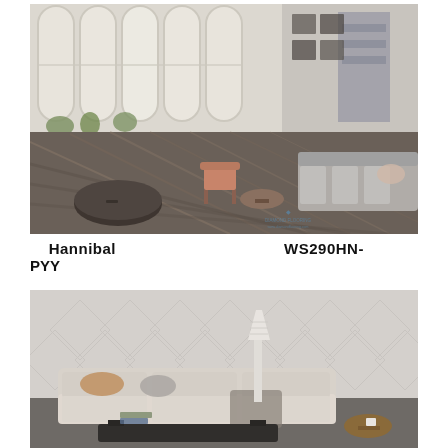[Figure (photo): Interior living room scene with large arched windows, wood plank floor in dark grey-brown tones, a round coffee table on the left, a grey sofa on the right, a mid-century chair in the center, and wall shelving unit. Watermark of a diamond logo visible in lower right corner.]
Hannibal                                       WS290HN-PYY
[Figure (photo): Modern living room with light grey diamond-patterned wall, large beige modular sofa with cushions, floor lamp, black coffee table, and small round side table. Minimal Scandinavian aesthetic.]